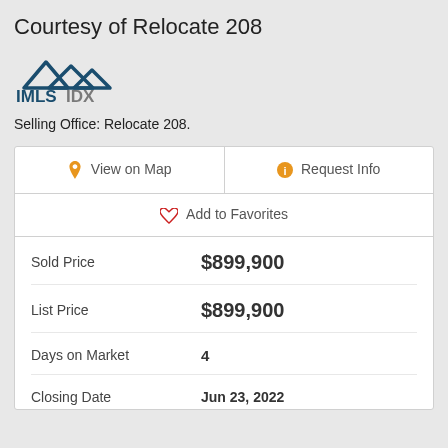Courtesy of Relocate 208
[Figure (logo): IMLS IDX logo with mountain peaks icon above text]
Selling Office: Relocate 208.
| View on Map | Request Info |
| Add to Favorites |  |
| Sold Price | $899,900 |
| List Price | $899,900 |
| Days on Market | 4 |
| Closing Date | Jun 23, 2022 |